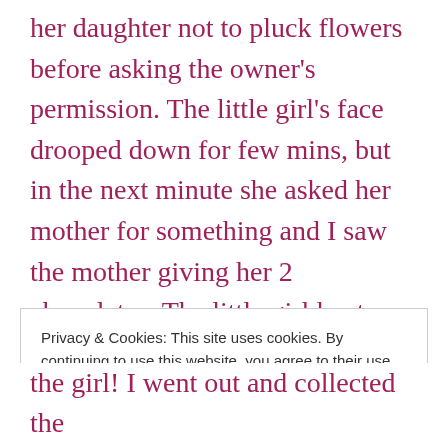her daughter not to pluck flowers before asking the owner's permission. The little girl's face drooped down for few mins, but in the next minute she asked her mother for something and I saw the mother giving her 2 chocolates. The little girl kept those chocolates in the inner part of the compound wall with a brilliant smile as if she had found a solution for a big problem. She then looked around probably waiting to spot someone in
Privacy & Cookies: This site uses cookies. By continuing to use this website, you agree to their use.
To find out more, including how to control cookies, see here: Cookie Policy
the girl! I went out and collected the